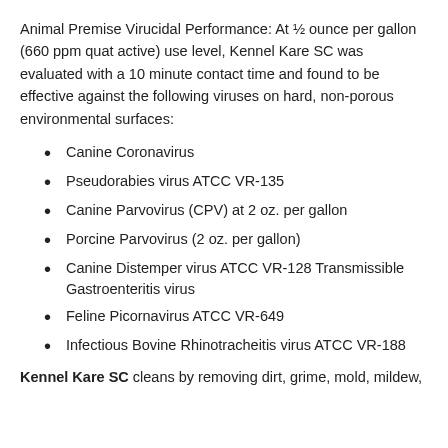Animal Premise Virucidal Performance: At ½ ounce per gallon (660 ppm quat active) use level, Kennel Kare SC was evaluated with a 10 minute contact time and found to be effective against the following viruses on hard, non-porous environmental surfaces:
Canine Coronavirus
Pseudorabies virus ATCC VR-135
Canine Parvovirus (CPV) at 2 oz. per gallon
Porcine Parvovirus (2 oz. per gallon)
Canine Distemper virus ATCC VR-128 Transmissible Gastroenteritis virus
Feline Picornavirus ATCC VR-649
Infectious Bovine Rhinotracheitis virus ATCC VR-188
Kennel Kare SC cleans by removing dirt, grime, mold, mildew,